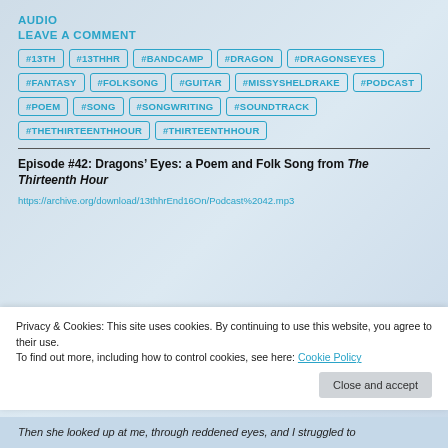AUDIO
LEAVE A COMMENT
#13TH
#13THHR
#BANDCAMP
#DRAGON
#DRAGONSEYES
#FANTASY
#FOLKSONG
#GUITAR
#MISSYSHELDRAKE
#PODCAST
#POEM
#SONG
#SONGWRITING
#SOUNDTRACK
#THETHIRTEENTHHOUR
#THIRTEENTHHOUR
Episode #42: Dragons’ Eyes: a Poem and Folk Song from The Thirteenth Hour
https://archive.org/download/13thhrEnd16On/Podcast%2042.mp3
Privacy & Cookies: This site uses cookies. By continuing to use this website, you agree to their use. To find out more, including how to control cookies, see here: Cookie Policy
Then she looked up at me, through reddened eyes, and I struggled to